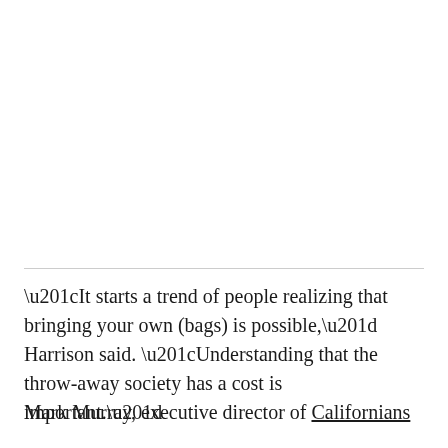“It starts a trend of people realizing that bringing your own (bags) is possible,” Harrison said. “Understanding that the throw-away society has a cost is important.”
Mark Murray, executive director of Californians